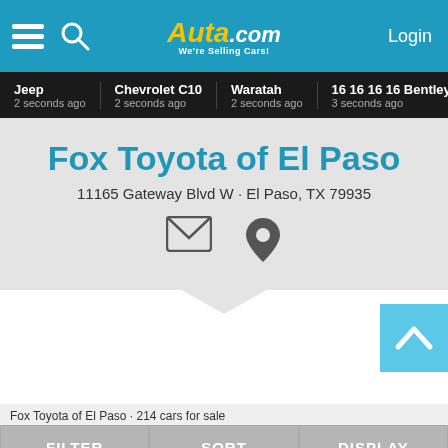Auta.com We're Selling Cars! Login
Jeep 2 seconds ago | Chevrolet C10 2 seconds ago | Waratah 2 seconds ago | 16 16 16 16 Bentley Cougar 3 seconds ago | Che 3 s...
Fox Toyota of El Paso
11165 Gateway Blvd W · El Paso, TX 79935
Fox Toyota of El Paso · 214 cars for sale
FILTER   SORT   DISPLAY